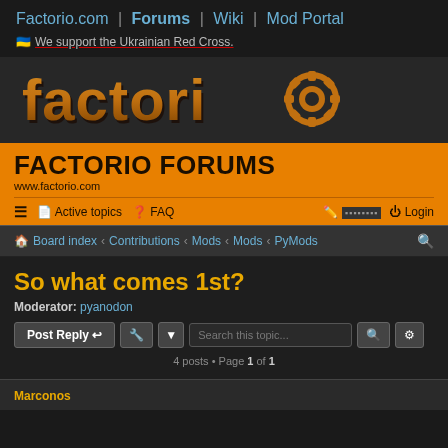Factorio.com | Forums | Wiki | Mod Portal
🇺🇦 We support the Ukrainian Red Cross.
[Figure (logo): Factorio logo with gear icon in orange metallic style]
FACTORIO FORUMS
www.factorio.com
≡  Active topics  ? FAQ  [edit icon] [squares] Login
Board index ‹ Contributions ‹ Mods ‹ Mods ‹ PyMods
So what comes 1st?
Moderator: pyanodon
Post Reply  [tool] | Search this topic...  [search] [settings]
4 posts • Page 1 of 1
Marconos